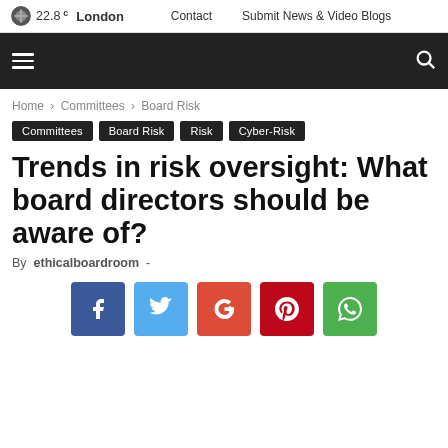22.8 C  London  Contact  Submit News & Video Blogs
Home › Committees › Board Risk
Committees  Board Risk  Risk  Cyber-Risk
Trends in risk oversight: What board directors should be aware of?
By ethicalboardroom -
[Figure (infographic): Social share buttons: Facebook (blue), Twitter (light blue), Google+ (red-orange), Pinterest (dark red), WhatsApp (green)]